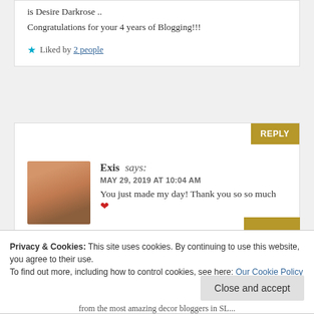is Desire Darkrose ..
Congratulations for your 4 years of Blogging!!!
★ Liked by 2 people
Exis says:
MAY 29, 2019 AT 10:04 AM
You just made my day! Thank you so so much ❤
★ Liked by 1 person
Privacy & Cookies: This site uses cookies. By continuing to use this website, you agree to their use.
To find out more, including how to control cookies, see here: Our Cookie Policy
Close and accept
from the most amazing decor bloggers in SL...